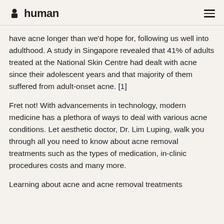human
have acne longer than we'd hope for, following us well into adulthood. A study in Singapore revealed that 41% of adults treated at the National Skin Centre had dealt with acne since their adolescent years and that majority of them suffered from adult-onset acne. [1]
Fret not! With advancements in technology, modern medicine has a plethora of ways to deal with various acne conditions. Let aesthetic doctor, Dr. Lim Luping, walk you through all you need to know about acne removal treatments such as the types of medication, in-clinic procedures costs and many more.
Learning about acne and acne removal treatments